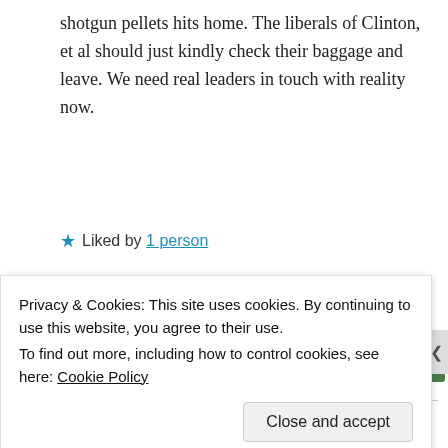shotgun pellets hits home. The liberals of Clinton, et al should just kindly check their baggage and leave. We need real leaders in touch with reality now.
★ Liked by 1 person
Advertisements
[Figure (screenshot): Green Jetpack advertisement banner]
allan
Privacy & Cookies: This site uses cookies. By continuing to use this website, you agree to their use.
To find out more, including how to control cookies, see here: Cookie Policy